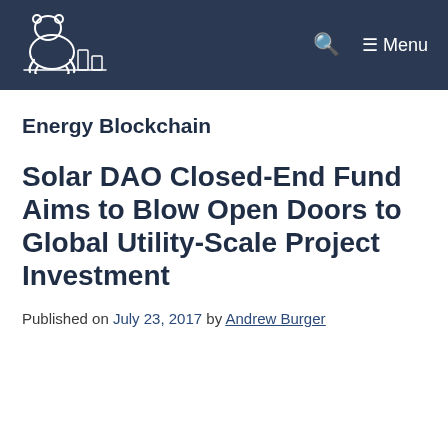Menu
Energy Blockchain
Solar DAO Closed-End Fund Aims to Blow Open Doors to Global Utility-Scale Project Investment
Published on July 23, 2017 by Andrew Burger